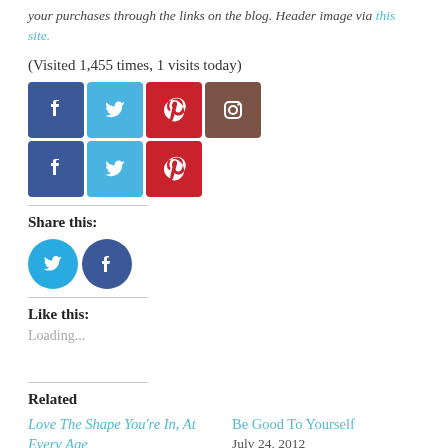your purchases through the links on the blog. Header image via this site.
(Visited 1,455 times, 1 visits today)
[Figure (other): Row of social media icons: Facebook, Twitter, Pinterest, Instagram]
[Figure (other): Second row of social media icons: Facebook, Twitter, Pinterest]
Share this:
[Figure (other): Share buttons: Twitter circle and Facebook circle]
Like this:
Loading...
Related
Love The Shape You're In, At Every Age
July 20, 2018
Be Good To Yourself
July 24, 2012
In "Aging"